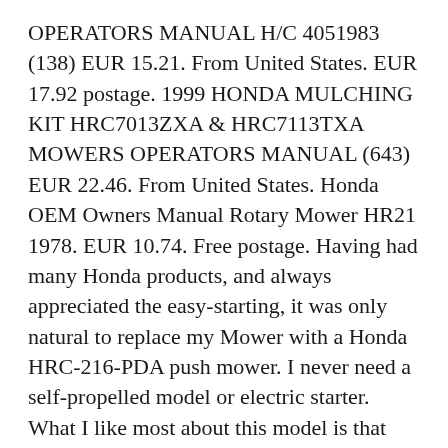OPERATORS MANUAL H/C 4051983 (138) EUR 15.21. From United States. EUR 17.92 postage. 1999 HONDA MULCHING KIT HRC7013ZXA & HRC7113TXA MOWERS OPERATORS MANUAL (643) EUR 22.46. From United States. Honda OEM Owners Manual Rotary Mower HR21 1978. EUR 10.74. Free postage. Having had many Honda products, and always appreciated the easy-starting, it was only natural to replace my Mower with a Honda HRC-216-PDA push mower. I never need a self-propelled model or electric starter. What I like most about this model is that mowing a lawn wet or dry, the twin blades make the lawn look professionally done.
HONDA BAGGER CART MODEL BC4050 OPERATORS MANUAL H/C 40 2083 (138) EUR